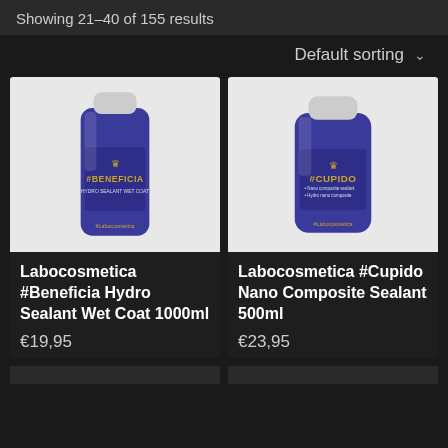Showing 21–40 of 155 results
Default sorting
[Figure (photo): Blue bottle of Labocosmetica #Beneficia Hydro Sealant Wet Coat 1000ml product with white cap on white background]
[Figure (photo): Blue bottle of Labocosmetica #Cupido Nano Composite Sealant 500ml product with white cap on white background]
Labocosmetica #Beneficia Hydro Sealant Wet Coat 1000ml
€19,95
Labocosmetica #Cupido Nano Composite Sealant 500ml
€23,95